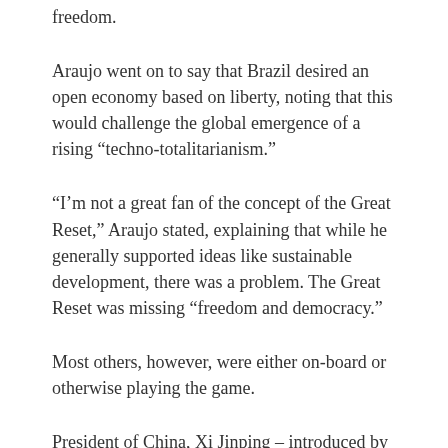freedom.
Araujo went on to say that Brazil desired an open economy based on liberty, noting that this would challenge the global emergence of a rising “techno-totalitarianism.”
“I’m not a great fan of the concept of the Great Reset,” Araujo stated, explaining that while he generally supported ideas like sustainable development, there was a problem. The Great Reset was missing “freedom and democracy.”
Most others, however, were either on-board or otherwise playing the game.
President of China, Xi Jinping – introduced by Klaus Schwab, founder of the WEF – stressed collaborative action; we must create a new and global economic